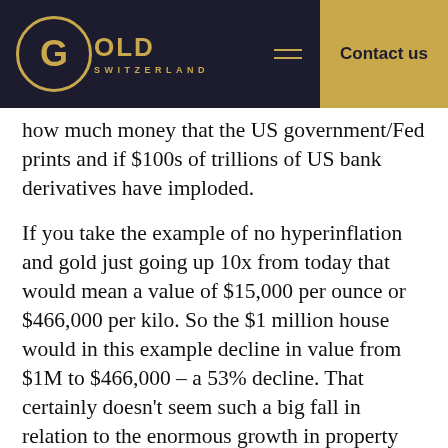GOLD SWITZERLAND | Contact us
how much money that the US government/Fed prints and if $100s of trillions of US bank derivatives have imploded.
If you take the example of no hyperinflation and gold just going up 10x from today that would mean a value of $15,000 per ounce or $466,000 per kilo. So the $1 million house would in this example decline in value from $1M to $466,000 – a 53% decline. That certainly doesn't seem such a big fall in relation to the enormous growth in property prices in recent years. But the key is of course that gold has gone up in value by 10x, leading to the house just costing 1